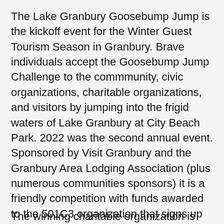The Lake Granbury Goosebump Jump is the kickoff event for the Winter Guest Tourism Season in Granbury. Brave individuals accept the Goosebump Jump Challenge to the commmunity, civic organizations, charitable organizations, and visitors by jumping into the frigid waters of Lake Granbury at City Beach Park. 2022 was the second annual event. Sponsored by Visit Granbury and the Granbury Area Lodging Association (plus numerous communities sponsors) it is a friendly competition with funds awarded to the 501C3 organization that signs up the largest number of participants. It is a great way to kick-off any nonprofit organization's budget for their upcoming year.
The winning charitable organization is